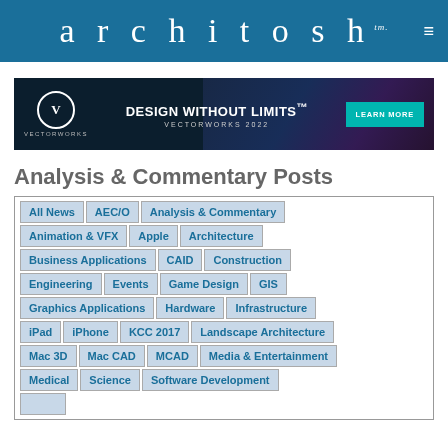architosh™
[Figure (infographic): Vectorworks 2022 advertisement banner: DESIGN WITHOUT LIMITS™ VECTORWORKS 2022 with LEARN MORE button]
Analysis & Commentary Posts
All News
AEC/O
Analysis & Commentary
Animation & VFX
Apple
Architecture
Business Applications
CAID
Construction
Engineering
Events
Game Design
GIS
Graphics Applications
Hardware
Infrastructure
iPad
iPhone
KCC 2017
Landscape Architecture
Mac 3D
Mac CAD
MCAD
Media & Entertainment
Medical
Science
Software Development